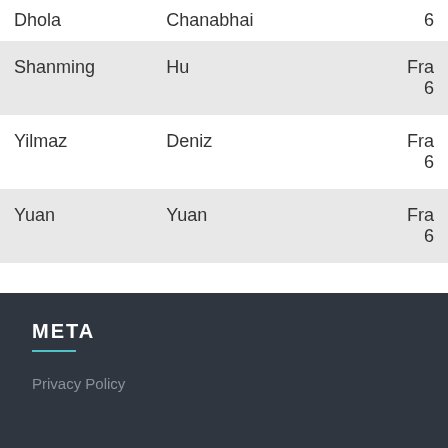| Dhola | Chanabhai | 6 |
| Shanming | Hu | Fra
6 |
| Yilmaz | Deniz | Fra
6 |
| Yuan | Yuan | Fra
6 |
META
Privacy Policy